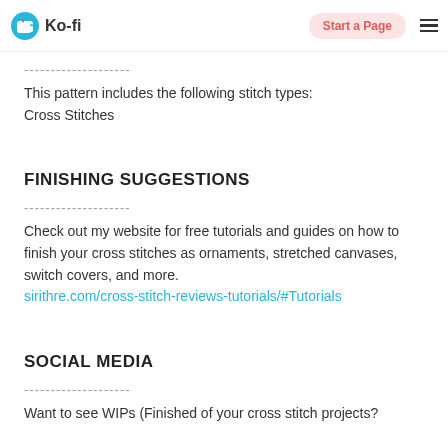Ko-fi | Start a Page
--------------------
This pattern includes the following stitch types:
Cross Stitches
FINISHING SUGGESTIONS
--------------------
Check out my website for free tutorials and guides on how to finish your cross stitches as ornaments, stretched canvases, switch covers, and more.
sirithre.com/cross-stitch-reviews-tutorials/#Tutorials
SOCIAL MEDIA
--------------------
Want to see WIPs (Finished of your cross stitch projects?